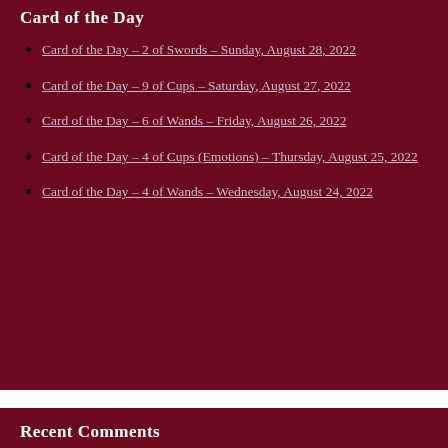Card of the Day
Card of the Day – 2 of Swords – Sunday, August 28, 2022
Card of the Day – 9 of Cups – Saturday, August 27, 2022
Card of the Day – 6 of Wands – Friday, August 26, 2022
Card of the Day – 4 of Cups (Emotions) – Thursday, August 25, 2022
Card of the Day – 4 of Wands – Wednesday, August 24, 2022
Recent Comments
feathers rea on Card of the Day – 2